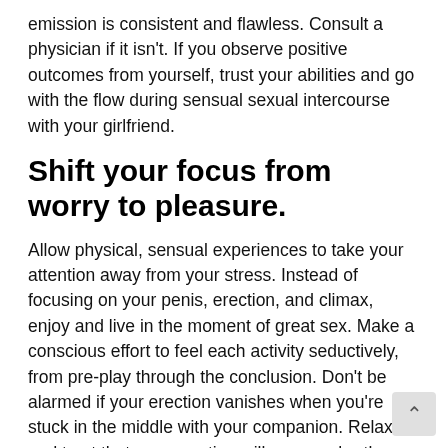emission is consistent and flawless. Consult a physician if it isn't. If you observe positive outcomes from yourself, trust your abilities and go with the flow during sensual sexual intercourse with your girlfriend.
Shift your focus from worry to pleasure.
Allow physical, sensual experiences to take your attention away from your stress. Instead of focusing on your penis, erection, and climax, enjoy and live in the moment of great sex. Make a conscious effort to feel each activity seductively, from pre-play through the conclusion. Don't be alarmed if your erection vanishes when you're stuck in the middle with your companion. Relax and trust that your erection will appear shortly. Ejaculation or orgasm isn't a problem before or after time. Maintain a cool deme and savor every moment with your sweetheart.